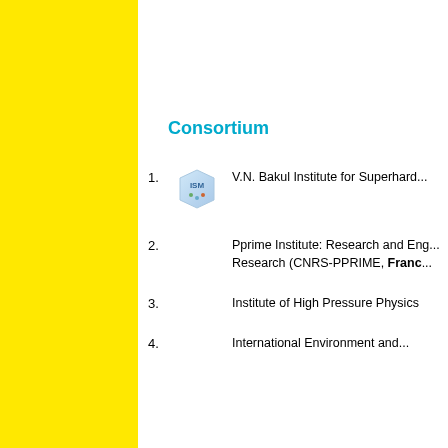[Figure (illustration): Yellow vertical sidebar on the left third of the page]
Consortium
V.N. Bakul Institute for Superhard...
Pprime Institute: Research and Engineering in Research (CNRS-PPRIME, France)
Institute of High Pressure Physics
International Environment and...